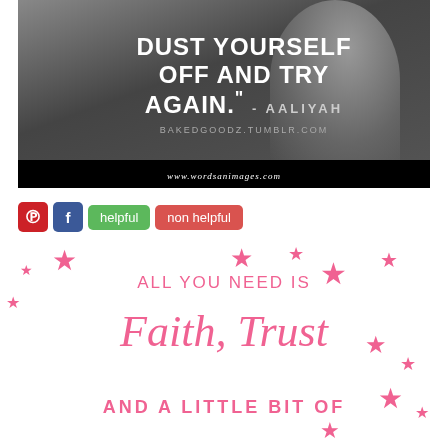[Figure (photo): Black and white photo of a person with overlaid quote text: 'DUST YOURSELF OFF AND TRY AGAIN." - AALIYAH' and 'BAKEDGOODZ.TUMBLR.COM', footer bar reads 'www.wordsanimages.com']
helpful | non helpful (social buttons: Pinterest, Facebook)
[Figure (illustration): White background with pink stars scattered around pink text reading 'ALL YOU NEED IS Faith, Trust AND A LITTLE BIT OF']